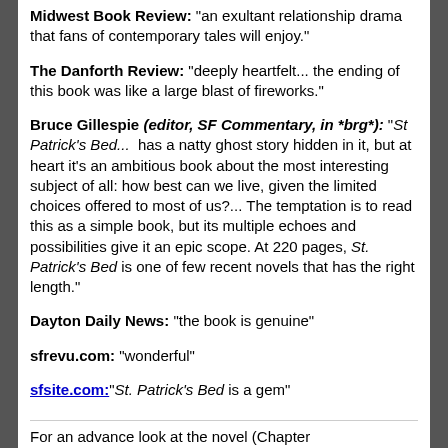Midwest Book Review: "an exultant relationship drama that fans of contemporary tales will enjoy."
The Danforth Review: "deeply heartfelt... the ending of this book was like a large blast of fireworks."
Bruce Gillespie (editor, SF Commentary, in *brg*): "St Patrick's Bed...  has a natty ghost story hidden in it, but at heart it's an ambitious book about the most interesting subject of all: how best can we live, given the limited choices offered to most of us?... The temptation is to read this as a simple book, but its multiple echoes and possibilities give it an epic scope. At 220 pages, St. Patrick's Bed is one of few recent novels that has the right length."
Dayton Daily News: "the book is genuine"
sfrevu.com: "wonderful"
sfsite.com:"St. Patrick's Bed is a gem"
For an advance look at the novel (Chapter